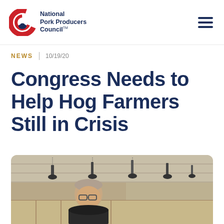National Pork Producers Council
NEWS | 10/19/20
Congress Needs to Help Hog Farmers Still in Crisis
[Figure (photo): A man wearing glasses standing inside a hog barn facility with hanging equipment and infrastructure visible in the background.]